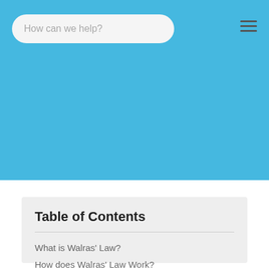[Figure (screenshot): Blue header bar with a search input field reading 'How can we help?' and a hamburger menu icon on the right]
Table of Contents
What is Walras' Law?
How does Walras' Law Work?